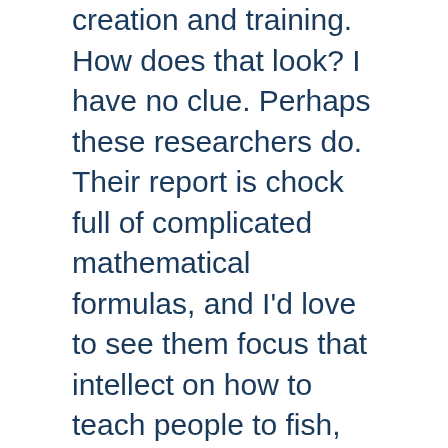creation and training. How does that look? I have no clue. Perhaps these researchers do. Their report is chock full of complicated mathematical formulas, and I’d love to see them focus that intellect on how to teach people to fish, instead of handing them fish sandwiches every week.”
A number of researchers at the Tobin Center for Economic Policy at Yale University recently published a paper on this very subject.
The researchers found “workers who experienced larger increases in UI